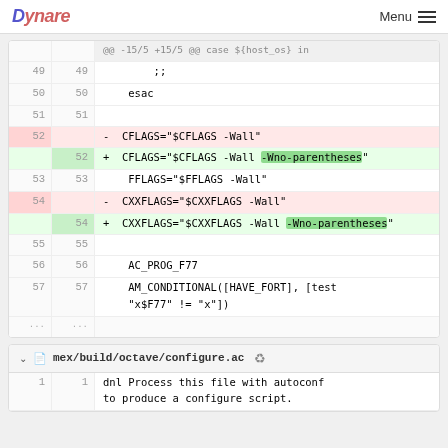Dynare  Menu
[Figure (screenshot): Code diff view showing changes to configure.ac: lines 49-57 with deletions and additions of CFLAGS/CXXFLAGS compiler flags, adding -Wno-parentheses option]
mex/build/octave/configure.ac
1  1  dnl Process this file with autoconf to produce a configure script.